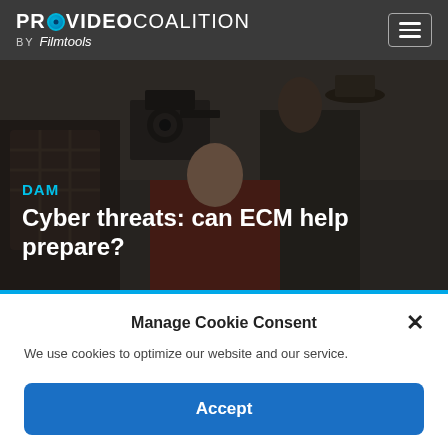PROVIDEO COALITION BY Filmtools
[Figure (photo): Dark overlay hero image showing film crew with cameras and equipment, period costumes]
DAM
Cyber threats: can ECM help prepare?
Manage Cookie Consent
We use cookies to optimize our website and our service.
Accept